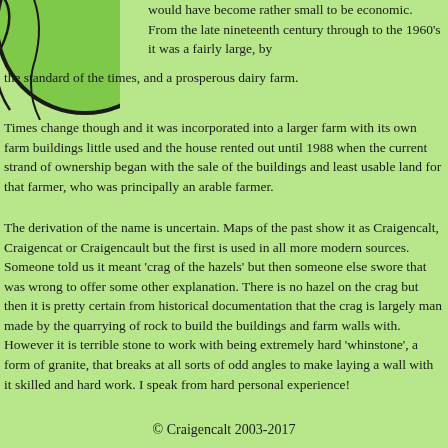[Figure (illustration): Partial circle/globe illustration in green and black, top-left corner]
would have become rather small to be economic. From the late nineteenth century through to the 1960's it was a fairly large, by the standard of the times, and a prosperous dairy farm.
Times change though and it was incorporated into a larger farm with its own farm buildings little used and the house rented out until 1988 when the current strand of ownership began with the sale of the buildings and least usable land for that farmer, who was principally an arable farmer.
The derivation of the name is uncertain. Maps of the past show it as Craigencalt, Craigencat or Craigencault but the first is used in all more modern sources. Someone told us it meant 'crag of the hazels' but then someone else swore that was wrong to offer some other explanation. There is no hazel on the crag but then it is pretty certain from historical documentation that the crag is largely man made by the quarrying of rock to build the buildings and farm walls with. However it is terrible stone to work with being extremely hard 'whinstone', a form of granite, that breaks at all sorts of odd angles to make laying a wall with it skilled and hard work. I speak from hard personal experience!
© Craigencalt 2003-2017